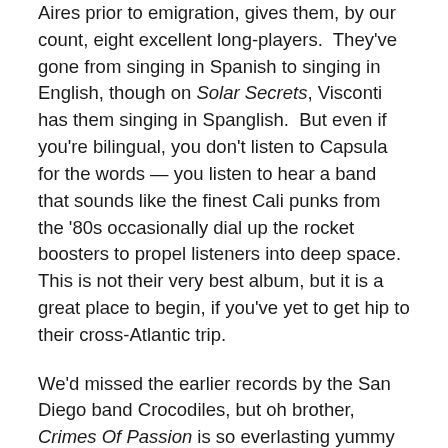Aires prior to emigration, gives them, by our count, eight excellent long-players.  They've gone from singing in Spanish to singing in English, though on Solar Secrets, Visconti has them singing in Spanglish.  But even if you're bilingual, you don't listen to Capsula for the words — you listen to hear a band that sounds like the finest Cali punks from the '80s occasionally dial up the rocket boosters to propel listeners into deep space.  This is not their very best album, but it is a great place to begin, if you've yet to get hip to their cross-Atlantic trip.
We'd missed the earlier records by the San Diego band Crocodiles, but oh brother, Crimes Of Passion is so everlasting yummy we are willing to put it up on our current roster of California Hall of Famers including Thee Oh Sees, Ty Segall, and Mikal Cronin.  We can understand why there have been comparisons to the